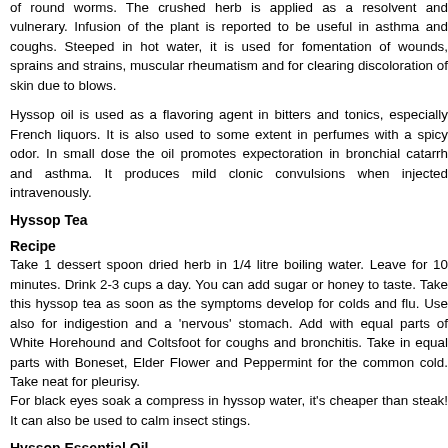of round worms. The crushed herb is applied as a resolvent and vulnerary. Infusion of the plant is reported to be useful in asthma and coughs. Steeped in hot water, it is used for fomentation of wounds, sprains and strains, muscular rheumatism and for clearing discoloration of skin due to blows.
Hyssop oil is used as a flavoring agent in bitters and tonics, especially French liquors. It is also used to some extent in perfumes with a spicy odor. In small dose the oil promotes expectoration in bronchial catarrh and asthma. It produces mild clonic convulsions when injected intravenously.
Hyssop Tea
Recipe
Take 1 dessert spoon dried herb in 1/4 litre boiling water. Leave for 10 minutes. Drink 2-3 cups a day. You can add sugar or honey to taste. Take this hyssop tea as soon as the symptoms develop for colds and flu. Use also for indigestion and a 'nervous' stomach. Add with equal parts of White Horehound and Coltsfoot for coughs and bronchitis. Take in equal parts with Boneset, Elder Flower and Peppermint for the common cold. Take neat for pleurisy.
For black eyes soak a compress in hyssop water, it's cheaper than steak! It can also be used to calm insect stings.
Hyssop Essential Oil
Hyssop essential oil is used to relieve tension and stress. As with all essential oils, add a few drops of the essential oil to a carrier...